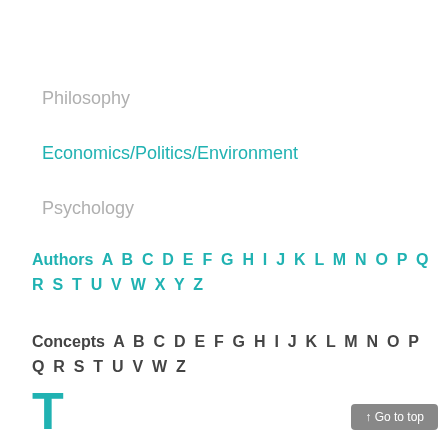Philosophy
Economics/Politics/Environment
Psychology
Authors  A  B  C  D  E  F  G  H  I  J  K  L  M  N  O  P  Q
R  S  T  U  V  W  X  Y  Z
Concepts  A  B  C  D  E  F  G  H  I  J  K  L  M  N  O  P
Q  R  S  T  U  V  W  Z
T
↑ Go to top